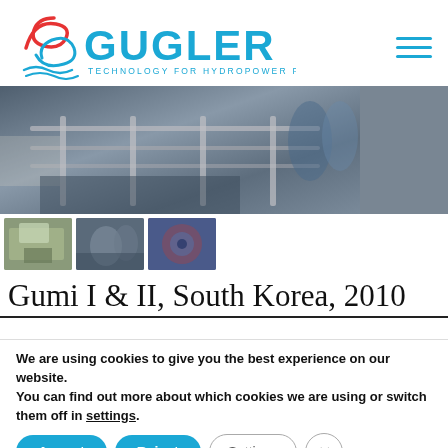[Figure (logo): Gugler logo with red S-curve and blue GUGLER text, tagline TECHNOLOGY FOR HYDROPOWER PLANTS]
[Figure (photo): Main photo of hydropower plant installation with metal railings and workers]
[Figure (photo): Three thumbnail photos: exterior building shot, workers in protective gear, mechanical component close-up]
Gumi I & II, South Korea, 2010
We are using cookies to give you the best experience on our website.
You can find out more about which cookies we are using or switch them off in settings.
Accept  Reject  Settings  ×